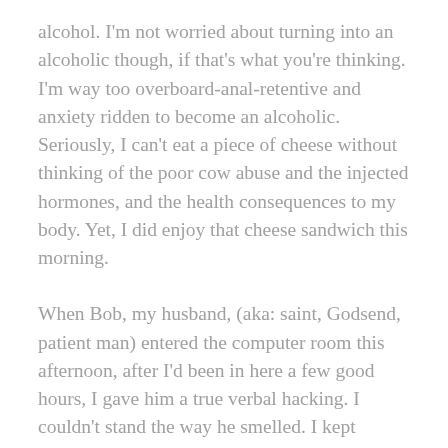alcohol. I'm not worried about turning into an alcoholic though, if that's what you're thinking. I'm way too overboard-anal-retentive and anxiety ridden to become an alcoholic. Seriously, I can't eat a piece of cheese without thinking of the poor cow abuse and the injected hormones, and the health consequences to my body. Yet, I did enjoy that cheese sandwich this morning.
When Bob, my husband, (aka: saint, Godsend, patient man) entered the computer room this afternoon, after I'd been in here a few good hours, I gave him a true verbal hacking. I couldn't stand the way he smelled. I kept repeating, "You stink. Take a shower." He finally left, after I plugged my nose and said, "You smell worse than our wet dog." He's a good sport and all, but my frankness and over-sensitivity, to practically everything, wears on him. I typically feel a little bad after I am so direct. But I did tell